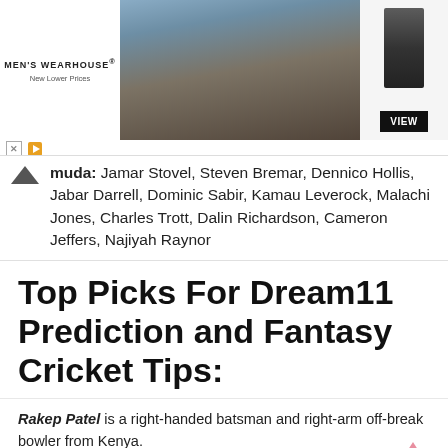[Figure (photo): Men's Wearhouse advertisement banner showing a couple in formal wear, a suited male figure, and a VIEW button]
muda: Jamar Stovel, Steven Bremar, Dennico Hollis, Jabar Darrell, Dominic Sabir, Kamau Leverock, Malachi Jones, Charles Trott, Dalin Richardson, Cameron Jeffers, Najiyah Raynor
Top Picks For Dream11 Prediction and Fantasy Cricket Tips:
Rakep Patel is a right-handed batsman and right-arm off-break bowler from Kenya.
Collins Obuya is a right-handed batsman and right-